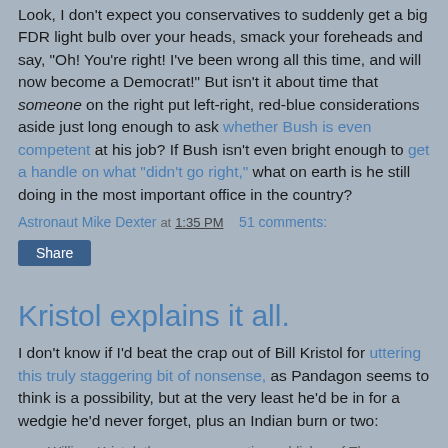Look, I don't expect you conservatives to suddenly get a big FDR light bulb over your heads, smack your foreheads and say, "Oh! You're right! I've been wrong all this time, and will now become a Democrat!" But isn't it about time that someone on the right put left-right, red-blue considerations aside just long enough to ask whether Bush is even competent at his job? If Bush isn't even bright enough to get a handle on what "didn't go right," what on earth is he still doing in the most important office in the country?
Astronaut Mike Dexter at 1:35 PM   51 comments:
Share
Kristol explains it all.
I don't know if I'd beat the crap out of Bill Kristol for uttering this truly staggering bit of nonsense, as Pandagon seems to think is a possibility, but at the very least he'd be in for a wedgie he'd never forget, plus an Indian burn or two:
William Kristol, the neoconservative publisher of The...